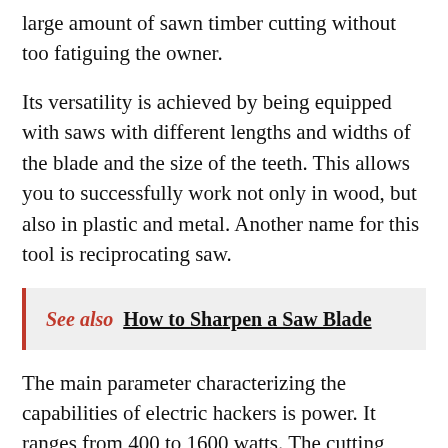large amount of sawn timber cutting without too fatiguing the owner.
Its versatility is achieved by being equipped with saws with different lengths and widths of the blade and the size of the teeth. This allows you to successfully work not only in wood, but also in plastic and metal. Another name for this tool is reciprocating saw.
See also  How to Sharpen a Saw Blade
The main parameter characterizing the capabilities of electric hackers is power. It ranges from 400 to 1600 watts. The cutting depth directly depends on it, which ranges from 90 mm